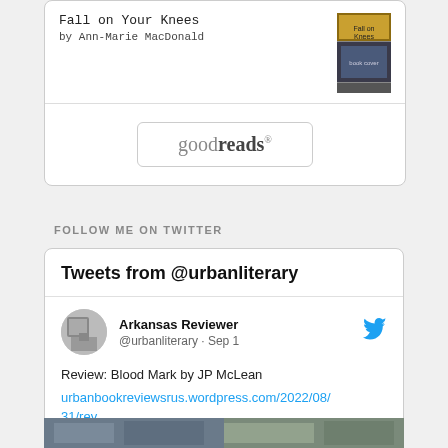Fall on Your Knees by Ann-Marie MacDonald
[Figure (screenshot): Goodreads button/logo widget]
FOLLOW ME ON TWITTER
Tweets from @urbanliterary
Arkansas Reviewer @urbanliterary · Sep 1
Review: Blood Mark by JP McLean urbanbookreviewsrus.wordpress.com/2022/08/31/rev…
[Figure (screenshot): Bottom image strip from Twitter feed]